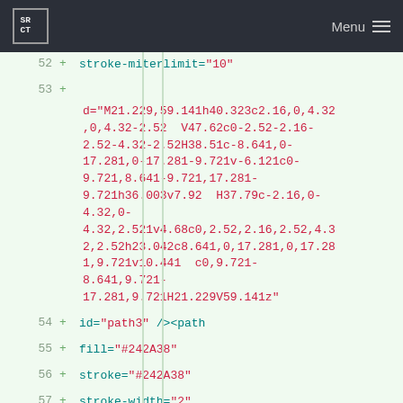SR CT | Menu
52  +       stroke-miterlimit="10"
53  +
d="M21.229,59.141h40.323c2.16,0,4.32,0,4.32-2.52  V47.62c0-2.52-2.16-2.52-4.32-2.52H38.51c-8.641,0-17.281,0-17.281-9.721v-6.121c0-9.721,8.641-9.721,17.281-9.721h36.003v7.92  H37.79c-2.16,0-4.32,0-4.32,2.521v4.68c0,2.52,2.16,2.52,4.32,2.52h23.042c8.641,0,17.281,0,17.281,9.721v10.441  c0,9.721-8.641,9.721-17.281,9.721H21.229V59.141z"
54  +       id="path3" /><path
55  +       fill="#242A38"
56  +       stroke="#242A38"
57  +       stroke-width="2"
58  +       stroke-miterlimit="10"
59  +